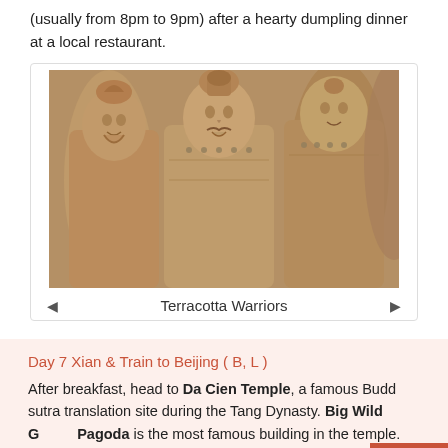(usually from 8pm to 9pm) after a hearty dumpling dinner at a local restaurant.
[Figure (photo): Close-up photograph of Terracotta Warriors clay statues showing detailed facial features and armor]
Terracotta Warriors
Day 7 Xian & Train to Beijing ( B, L )
After breakfast, head to Da Cien Temple, a famous Buddhist sutra translation site during the Tang Dynasty. Big Wild Goose Pagoda is the most famous building in the temple. The pagoda, rising to a height of 64.5 meters, was built by the famous Buddhist master Xuanzang to preserve classic scriptures he